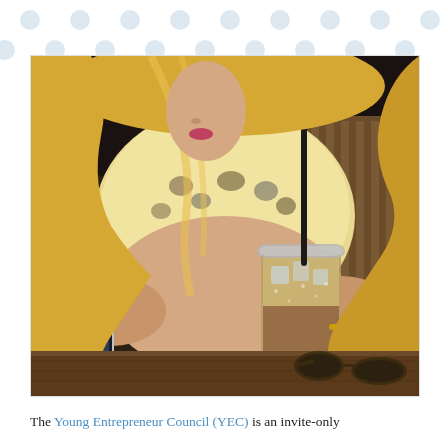[Figure (photo): Young blonde woman sitting at a wooden table outdoors, holding an iced coffee drink with a black straw in one hand and a smartphone in the other. Sunglasses rest on the table. She is wearing a floral print shirt.]
The Young Entrepreneur Council (YEC) is an invite-only